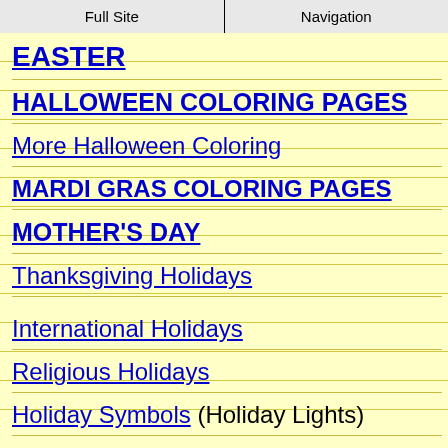Full Site | Navigation
EASTER
HALLOWEEN COLORING PAGES
More Halloween Coloring
MARDI GRAS COLORING PAGES
MOTHER'S DAY
Thanksgiving Holidays
International Holidays
Religious Holidays
Holiday Symbols (Holiday Lights)